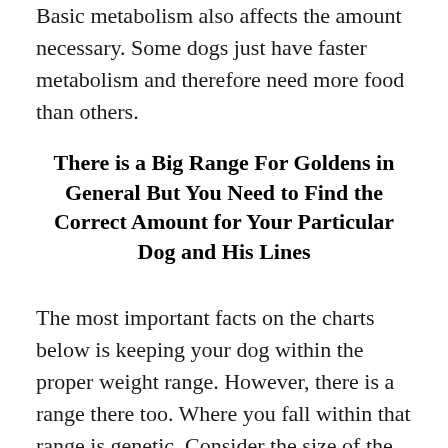Basic metabolism also affects the amount necessary. Some dogs just have faster metabolism and therefore need more food than others.
There is a Big Range For Goldens in General But You Need to Find the Correct Amount for Your Particular Dog and His Lines
The most important facts on the charts below is keeping your dog within the proper weight range. However, there is a range there too. Where you fall within that range is genetic. Consider the size of the parents of your puppy. Consider genetics of their ancestors.